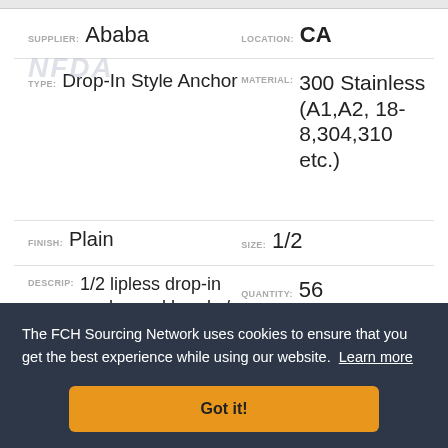SUPPLIER: Ababa    LOCATION: CA
TYPE: Drop-In Style Anchor    MATERIAL: 300 Stainless (A1,A2, 18-8,304,310 etc.)
FINISH: Plain    SIZE: 1/2
DESCRIP: 1/2 lipless drop-in anchor red head s/s    QUANTITY: 56
CONTACT: Contact_Supplier
The FCH Sourcing Network uses cookies to ensure that you get the best experience while using our website. Learn more
Got it!